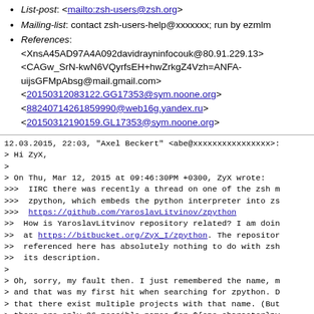List-post: <mailto:zsh-users@zsh.org>
Mailing-list: contact zsh-users-help@xxxxxxx; run by ezmlm
References: <XnsA45AD97A4A092davidrayninfocouk@80.91.229.13> <CAGw_SrN-kwN6VQyrfsEH+hwZrkgZ4Vzh=ANFA-uijsGFMpAbsg@mail.gmail.com> <20150312083122.GG17353@sym.noone.org> <88240714261859900@web16g.yandex.ru> <20150312190159.GL17353@sym.noone.org>
12.03.2015, 22:03, "Axel Beckert" <abe@xxxxxxxxxxxxxxxx>:
> Hi ZyX,
>
> On Thu, Mar 12, 2015 at 09:46:30PM +0300, ZyX wrote:
>>>  IIRC there was recently a thread on one of the zsh m
>>>  zpython, which embeds the python interpreter into zs
>>>  https://github.com/YaroslavLitvinov/zpython
>>  How is YaroslavLitvinov repository related? I am doin
>>  at https://bitbucket.org/ZyX_I/zpython. The repositor
>>  referenced here has absolutely nothing to do with zsh
>>  its description.
>
> Oh, sorry, my fault then. I just remembered the name, m
> and that was my first hit when searching for zpython. D
> that there exist multiple projects with that name. (But
> there are only 26 possible names for ${one_character}py
> slashes should be expected.) So thanks for pointing out